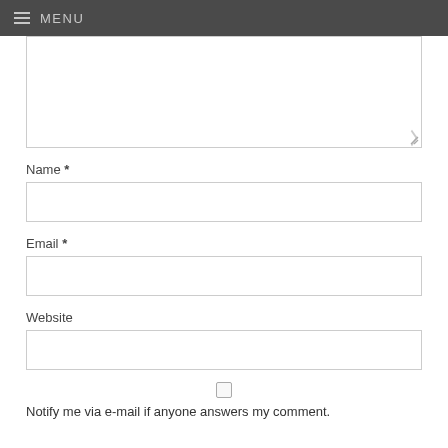MENU
[Figure (screenshot): Comment textarea input box (top portion cut off, resizable)]
Name *
[Figure (screenshot): Name text input field]
Email *
[Figure (screenshot): Email text input field]
Website
[Figure (screenshot): Website text input field]
[Figure (screenshot): Checkbox (unchecked)]
Notify me via e-mail if anyone answers my comment.